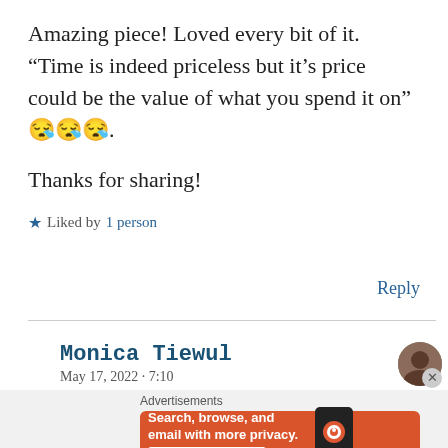Amazing piece! Loved every bit of it. “Time is indeed priceless but it’s price could be the value of what you spend it on” 😪😪😪.
Thanks for sharing!
★ Liked by 1 person
Reply
Monica Tiewul
[Figure (infographic): DuckDuckGo advertisement banner: orange background with text 'Search, browse, and email with more privacy. All in One Free App' and DuckDuckGo logo with phone mockup.]